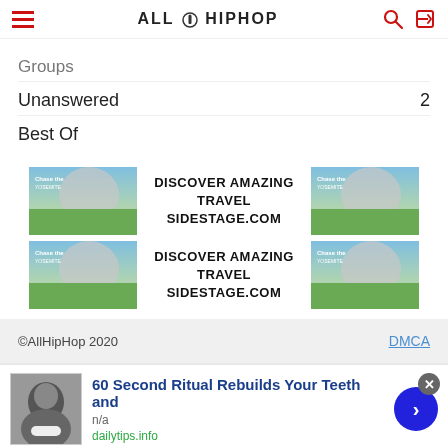AllHipHop
Groups
Unanswered  2
Best Of
[Figure (infographic): Two identical travel advertisement banners for sidestage.com, each showing a Yosemite mountain landscape image on the left and right with text 'DISCOVER AMAZING TRAVEL SIDESTAGE.COM' in the center. Shown twice, stacked vertically.]
©AllHipHop 2020   DMCA
60 Second Ritual Rebuilds Your Teeth and
n/a
dailytips.info